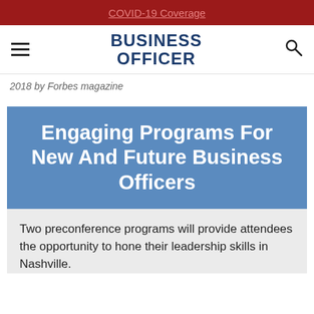COVID-19 Coverage
[Figure (logo): Business Officer magazine logo with hamburger menu and search icon]
2018 by Forbes magazine
Engaging Programs For New And Future Business Officers
Two preconference programs will provide attendees the opportunity to hone their leadership skills in Nashville.